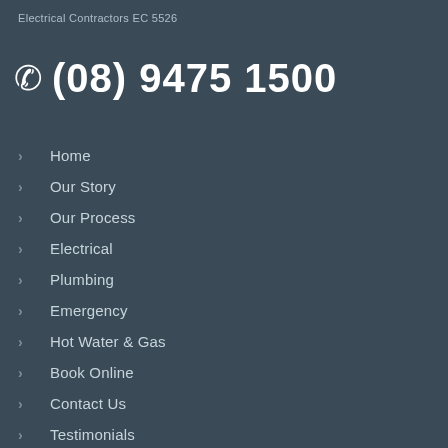Electrical Contractors EC 5526
(08) 9475 1500
Home
Our Story
Our Process
Electrical
Plumbing
Emergency
Hot Water & Gas
Book Online
Contact Us
Testimonials
Electrical Fault Finding